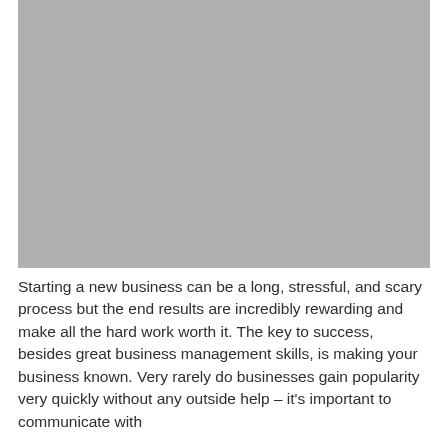[Figure (photo): A large rectangular gray placeholder image occupying the top portion of the page.]
Starting a new business can be a long, stressful, and scary process but the end results are incredibly rewarding and make all the hard work worth it. The key to success, besides great business management skills, is making your business known. Very rarely do businesses gain popularity very quickly without any outside help – it's important to communicate with